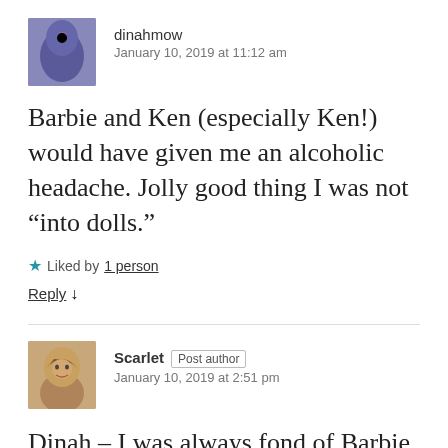[Figure (photo): Avatar image of user dinahmow — appears to be a bird with blue/purple feathers and a pink beak]
dinahmow
January 10, 2019 at 11:12 am
Barbie and Ken (especially Ken!) would have given me an alcoholic headache. Jolly good thing I was not “into dolls.”
★ Liked by 1 person
Reply ↓
[Figure (photo): Avatar image of user Scarlet — appears to be a woman with short brown hair]
Scarlet Post author
January 10, 2019 at 2:51 pm
Dinah – I was always fond of Barbie. My